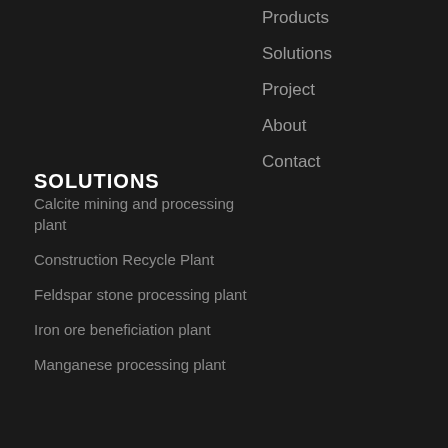Products
Solutions
Project
About
Contact
SOLUTIONS
Calcite mining and processing plant
Construction Recycle Plant
Feldspar stone processing plant
Iron ore beneficiation plant
Manganese processing plant